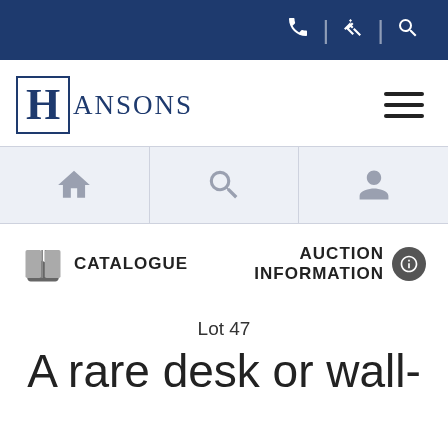[Figure (screenshot): Top navigation bar with dark navy background containing phone, gavel, and search icons]
[Figure (logo): Hansons auction house logo: stylized H in a box followed by ANSONS text]
[Figure (screenshot): Mobile navigation bar with home, search, and user account icons]
[Figure (infographic): Catalogue icon (open book) with CATALOGUE label and AUCTION INFORMATION with info icon]
Lot 47
A rare desk or wall-